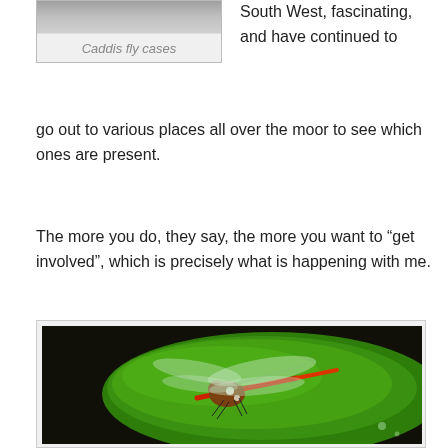[Figure (photo): Close-up photo of caddis fly cases (partial, top portion visible at top of page)]
Caddis fly cases
South West, fascinating, and have continued to go out to various places all over the moor to see which ones are present.
The more you do, they say, the more you want to “get involved”, which is precisely what is happening with me.
[Figure (photo): A red dragonfly resting on a large green lily pad against a dark background]